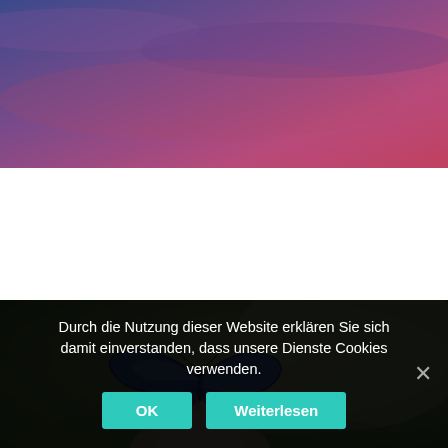[Figure (illustration): Top banner with purple-blue to pink/magenta gradient background, resembling a sky or abstract header graphic.]
[Figure (photo): Photo of a blue butterfly perched on the fingertip of a white robotic/mechanical hand, with a blurred green nature background.]
Durch die Nutzung dieser Website erklären Sie sich damit einverstanden, dass unsere Dienste Cookies verwenden.
OK
Weiterlesen